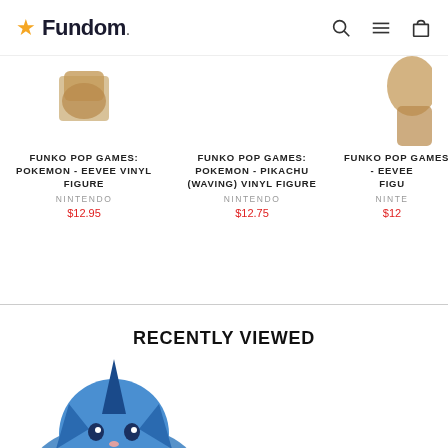Fundom
FUNKO POP GAMES: POKEMON - EEVEE VINYL FIGURE
NINTENDO
$12.95
FUNKO POP GAMES: POKEMON - PIKACHU (WAVING) VINYL FIGURE
NINTENDO
$12.75
FUNKO POP GAMES: P - EEVEE FIGU
NINTE
$12
RECENTLY VIEWED
[Figure (photo): Partial view of a Vaporeon Pokemon Funko Pop vinyl figure, showing blue and yellow head/fin details]